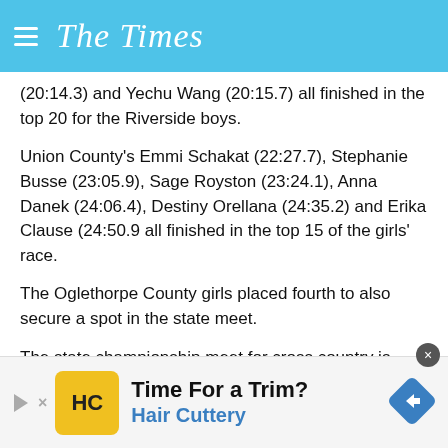The Times
(20:14.3) and Yechu Wang (20:15.7) all finished in the top 20 for the Riverside boys.
Union County's Emmi Schakat (22:27.7), Stephanie Busse (23:05.9), Sage Royston (23:24.1), Anna Danek (24:06.4), Destiny Orellana (24:35.2) and Erika Clause (24:50.9 all finished in the top 15 of the girls' race.
The Oglethorpe County girls placed fourth to also secure a spot in the state meet.
The state championship meet for cross country is Nov. 7 at Carrollton Middle School.
[Figure (infographic): Advertisement for Hair Cuttery with yellow logo, headline 'Time For a Trim?' and blue subtext 'Hair Cuttery']